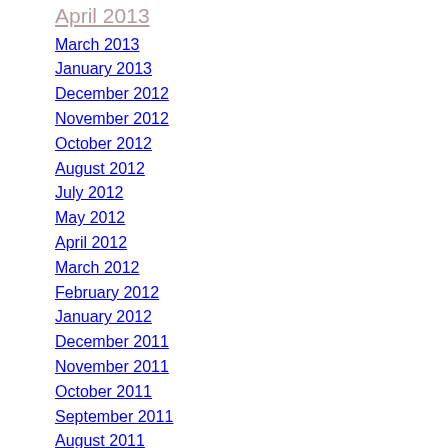April 2013
March 2013
January 2013
December 2012
November 2012
October 2012
August 2012
July 2012
May 2012
April 2012
March 2012
February 2012
January 2012
December 2011
November 2011
October 2011
September 2011
August 2011
July 2011